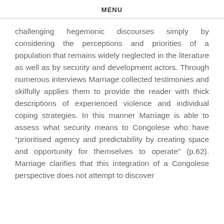MENU
challenging hegemonic discourses simply by considering the perceptions and priorities of a population that remains widely neglected in the literature as well as by security and development actors. Through numerous interviews Marriage collected testimonies and skilfully applies them to provide the reader with thick descriptions of experienced violence and individual coping strategies. In this manner Marriage is able to assess what security means to Congolese who have “prioritised agency and predictability by creating space and opportunity for themselves to operate” (p.62). Marriage clarifies that this integration of a Congolese perspective does not attempt to discover